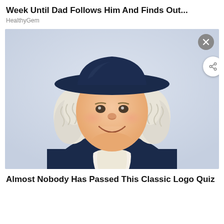Week Until Dad Follows Him And Finds Out...
HealthyGem
[Figure (illustration): Illustrated portrait of the Quaker Oats man mascot: a smiling man with white curly hair, wearing a dark navy wide-brimmed hat and dark navy colonial-style coat with a large white cravat/collar. The figure is shown from roughly the chest up against a light gradient background.]
Almost Nobody Has Passed This Classic Logo Quiz